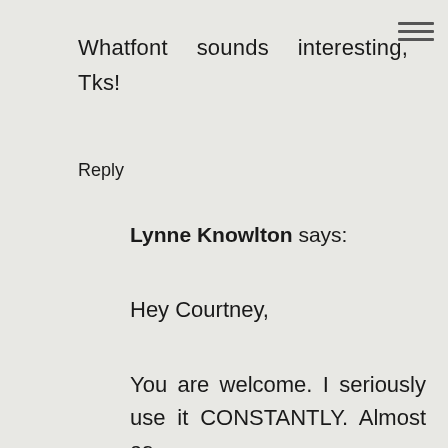Whatfont sounds interesting, Tks!
Reply
Lynne Knowlton says:
Hey Courtney,
You are welcome. I seriously use it CONSTANTLY. Almost as